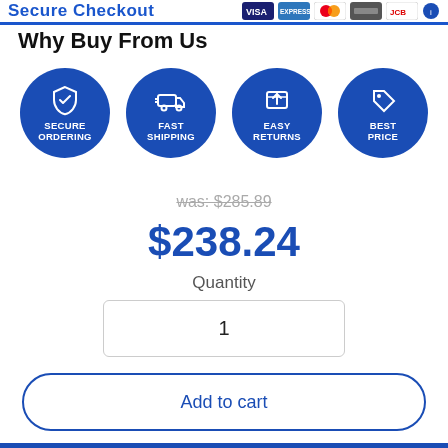Secure Checkout
Why Buy From Us
[Figure (infographic): Four blue circular icons: Secure Ordering (shield with checkmark), Fast Shipping (delivery truck), Easy Returns (box with arrows), Best Price (price tag)]
was: $285.89
$238.24
Quantity
1
Add to cart